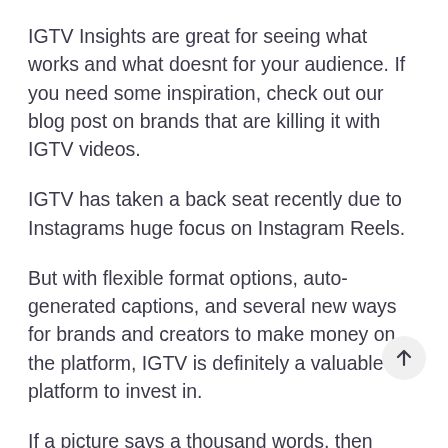IGTV Insights are great for seeing what works and what doesnt for your audience. If you need some inspiration, check out our blog post on brands that are killing it with IGTV videos.
IGTV has taken a back seat recently due to Instagrams huge focus on Instagram Reels.
But with flexible format options, auto-generated captions, and several new ways for brands and creators to make money on the platform, IGTV is definitely a valuable platform to invest in.
If a picture says a thousand words, then video is worth a million.
Long-form video will always be one of the most effective